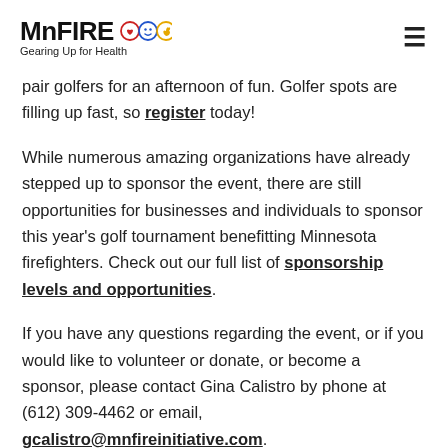MnFIRE Gearing Up for Health
pair golfers for an afternoon of fun. Golfer spots are filling up fast, so register today!
While numerous amazing organizations have already stepped up to sponsor the event, there are still opportunities for businesses and individuals to sponsor this year's golf tournament benefitting Minnesota firefighters. Check out our full list of sponsorship levels and opportunities.
If you have any questions regarding the event, or if you would like to volunteer or donate, or become a sponsor, please contact Gina Calistro by phone at (612) 309-4462 or email, gcalistro@mnfireinitiative.com.